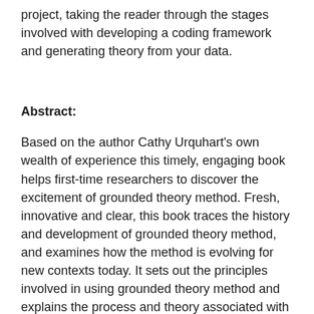project, taking the reader through the stages involved with developing a coding framework and generating theory from your data.
Abstract:
Based on the author Cathy Urquhart's own wealth of experience this timely, engaging book helps first-time researchers to discover the excitement of grounded theory method. Fresh, innovative and clear, this book traces the history and development of grounded theory method, and examines how the method is evolving for new contexts today. It sets out the principles involved in using grounded theory method and explains the process and theory associated with coding in grounded theory. Grounded Theory for Qualitative Research introduces us to the practicalities of research design, theory building, coding and writing up and gives us the tools to tackle key questions:
What is grounded theory?